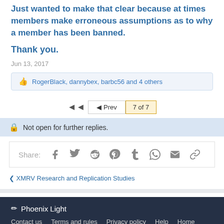Just wanted to make that clear because at times members make erroneous assumptions as to why a member has been banned.
Thank you.
Jun 13, 2017
👍 RogerBlack, dannybex, barbc56 and 4 others
◄◄  ◄ Prev  7 of 7
🔒 Not open for further replies.
Share: [social icons]
< XMRV Research and Replication Studies
✏ Phoenix Light | Contact us | Terms and rules | Privacy policy | Help | Home | RSS